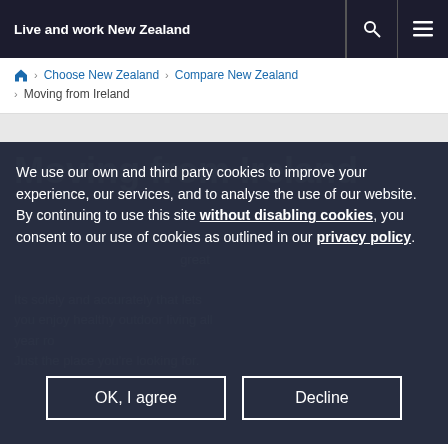Live and work New Zealand
Choose New Zealand › Compare New Zealand › Moving from Ireland
We use our own and third party cookies to improve your experience, our services, and to analyse the use of our website. By continuing to use this site without disabling cookies, you consent to our use of cookies as outlined in our privacy policy.
OK, I agree | Decline